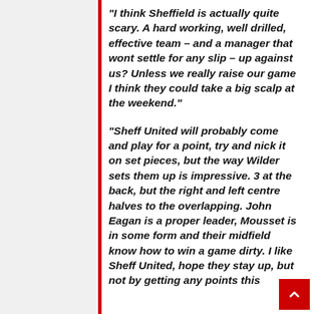“I think Sheffield is actually quite scary. A hard working, well drilled, effective team – and a manager that wont settle for any slip – up against us? Unless we really raise our game I think they could take a big scalp at the weekend.”
“Sheff United will probably come and play for a point, try and nick it on set pieces, but the way Wilder sets them up is impressive. 3 at the back, but the right and left centre halves to the overlapping. John Eagan is a proper leader, Mousset is in some form and their midfield know how to win a game dirty. I like Sheff United, hope they stay up, but not by getting any points this